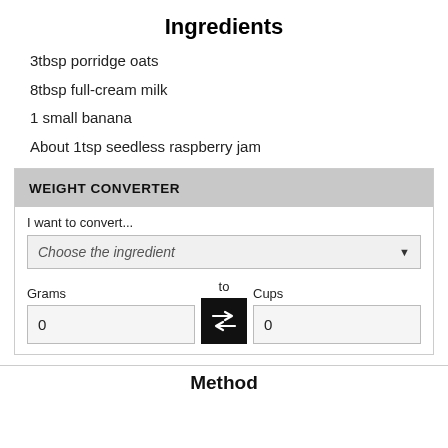Ingredients
3tbsp porridge oats
8tbsp full-cream milk
1 small banana
About 1tsp seedless raspberry jam
WEIGHT CONVERTER
I want to convert...
Choose the ingredient
Grams
to
Cups
0
0
Method